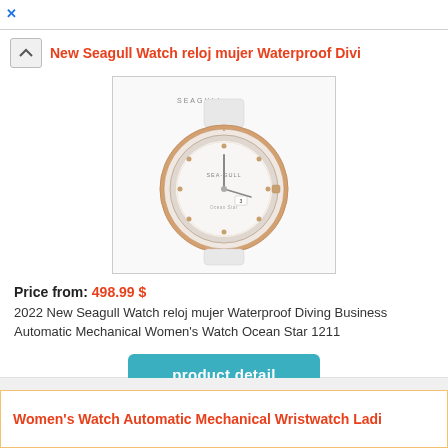×
New Seagull Watch reloj mujer Waterproof Divi
[Figure (photo): White Seagull women's watch with rose gold bezel, mother of pearl dial, white leather strap, Ocean Star 1211 model]
Price from: 498.99 $
2022 New Seagull Watch reloj mujer Waterproof Diving Business Automatic Mechanical Women's Watch Ocean Star 1211
product detail
Women's Watch Automatic Mechanical Wristwatch Ladi